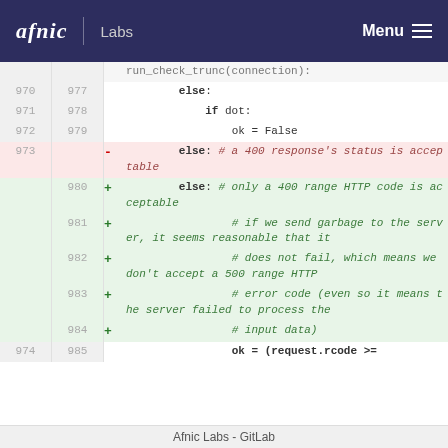afnic Labs | Menu
[Figure (screenshot): Git diff view showing code changes in a Python file. Lines 970-974 are on the left (old), lines 977-985 are on the right (new). A header line shows run_check_trunc(connection):. Neutral lines show else:, if dot:, ok = False. Line 973 (removed, pink) shows else: # a 400 response's status is acceptable. Lines 980-984 (added, green) show else: # only a 400 range HTTP code is acceptable, plus comment lines about sending garbage to the server and not accepting 500 range HTTP error codes and input data. Line 974/985 shows ok = (request.rcode >=]
Afnic Labs - GitLab